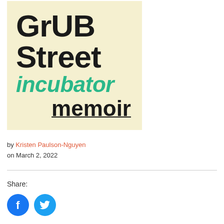[Figure (logo): GrubStreet Incubator Memoir logo on cream background with black bold text for 'GrUB street' and green italic bold text for 'incubator', and black underlined bold text for 'memoir']
by Kristen Paulson-Nguyen
on March 2, 2022
Share:
[Figure (illustration): Facebook and Twitter social share icon buttons (blue circles with white icons)]